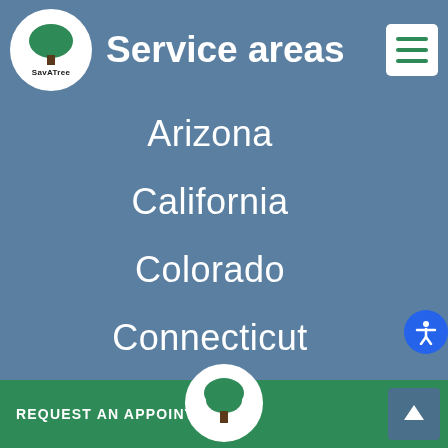[Figure (logo): SavATree logo: white circle with green tree and 'SAVĀTREE' text below]
Service areas
[Figure (other): Hamburger menu icon button (white square with three green horizontal lines)]
Arizona
California
Colorado
Connecticut
Florida
Georgia
[Figure (other): Blue circle accessibility icon (person figure)]
REQUEST AN APPOINTMENT
[Figure (logo): SavATree green tree icon in white circle]
[Figure (other): Up arrow button]